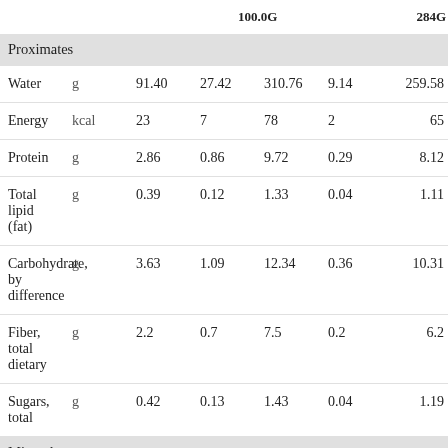|  |  | 100.0G |  |  |  | 284G |
| --- | --- | --- | --- | --- | --- | --- |
| Proximates |  |  |  |  |  |  |
| Water | g | 91.40 | 27.42 | 310.76 | 9.14 | 259.58 |
| Energy | kcal | 23 | 7 | 78 | 2 | 65 |
| Protein | g | 2.86 | 0.86 | 9.72 | 0.29 | 8.12 |
| Total lipid (fat) | g | 0.39 | 0.12 | 1.33 | 0.04 | 1.11 |
| Carbohydrate, by difference | g | 3.63 | 1.09 | 12.34 | 0.36 | 10.31 |
| Fiber, total dietary | g | 2.2 | 0.7 | 7.5 | 0.2 | 6.2 |
| Sugars, total | g | 0.42 | 0.13 | 1.43 | 0.04 | 1.19 |
| Minerals |  |  |  |  |  |  |